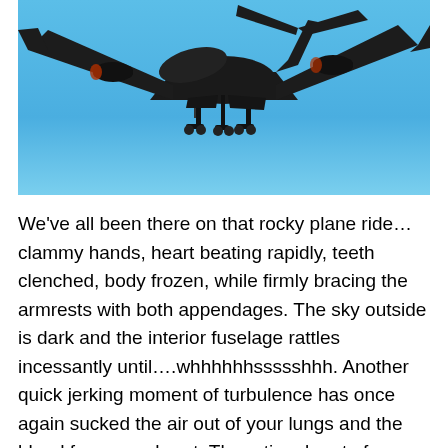[Figure (photo): Airplane silhouette viewed from below against a clear blue sky, showing undercarriage with landing gear deployed and engines visible on wings.]
We've all been there on that rocky plane ride…clammy hands, heart beating rapidly, teeth clenched, body frozen, while firmly bracing the armrests with both appendages. The sky outside is dark and the interior fuselage rattles incessantly until….whhhhhhssssshhh. Another quick jerking moment of turbulence has once again sucked the air out of your lungs and the blood from your heart. The rational part of your brain tries to assure you that this is normal choppy weather and will shortly transition to calm blue skies. The irrational and emotional part of our brains (see